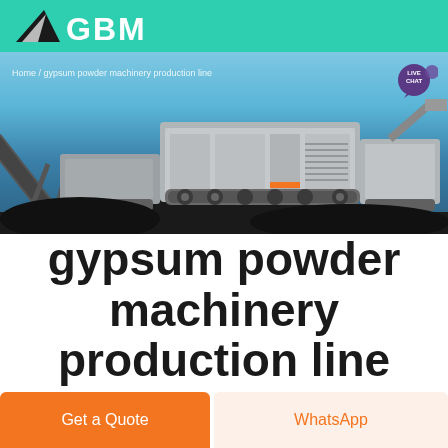GBM logo and header bar
[Figure (photo): Industrial mining/crushing machinery on a job site with conveyor belts and large processing equipment, with blue sky background]
Home / gypsum powder machinery production line
gypsum powder machinery production line
Get a Quote
WhatsApp